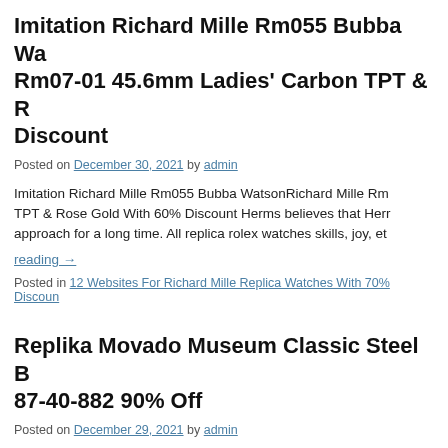Imitation Richard Mille Rm055 Bubba Wa... Rm07-01 45.6mm Ladies' Carbon TPT & R... Discount
Posted on December 30, 2021 by admin
Imitation Richard Mille Rm055 Bubba WatsonRichard Mille Rm... TPT & Rose Gold With 60% Discount Herms believes that Herr... approach for a long time. All replica rolex watches skills, joy, et...
reading →
Posted in 12 Websites For Richard Mille Replica Watches With 70% Discoun...
Replika Movado Museum Classic Steel B... 87-40-882 90% Off
Posted on December 29, 2021 by admin
Replika Movado Museum Classic Steel Black Dial 30mm / Ref... transparentelephone structure can display greater replica watch... about the leading watchmen with problems of 1.1...